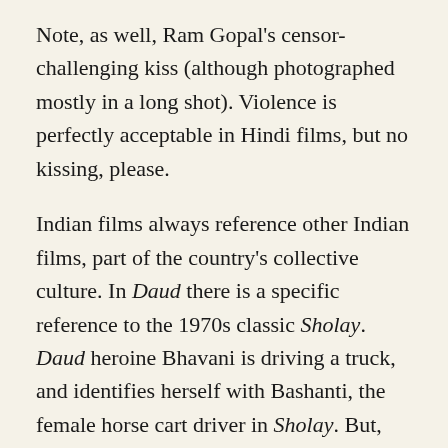Note, as well, Ram Gopal's censor-challenging kiss (although photographed mostly in a long shot). Violence is perfectly acceptable in Hindi films, but no kissing, please.
Indian films always reference other Indian films, part of the country's collective culture. In Daud there is a specific reference to the 1970s classic Sholay. Daud heroine Bhavani is driving a truck, and identifies herself with Bashanti, the female horse cart driver in Sholay. But, the main reason for the reference seems to be the similarly heartless villains in both films, who don't hesitate to kill women and children, Gabbar Singh in Sholay and Pinky, here. Until fairly